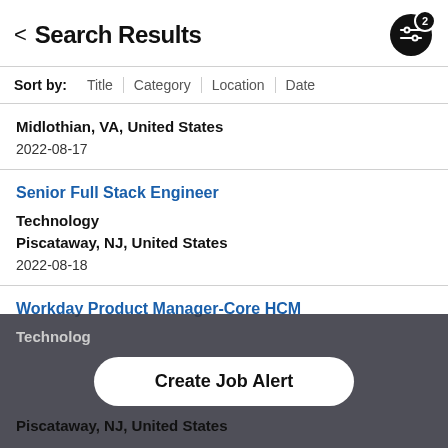Search Results
Sort by: Title | Category | Location | Date
Midlothian, VA, United States
2022-08-17
Senior Full Stack Engineer
Technology
Piscataway, NJ, United States
2022-08-18
Workday Product Manager-Core HCM
Technology
Piscataway, NJ, United States
Create Job Alert